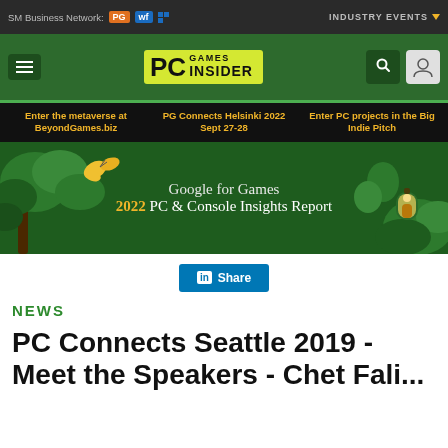SM Business Network: PG [icon] [icon] | INDUSTRY EVENTS
[Figure (logo): PC Games Insider logo with hamburger menu, search and user icons on green header background]
Enter the metaverse at BeyondGames.biz | PG Connects Helsinki 2022 Sept 27-28 | Enter PC projects in the Big Indie Pitch
[Figure (illustration): Google for Games 2022 PC & Console Insights Report banner with illustrated forest scene, glowing lantern, and butterfly]
Share
NEWS
PC Connects Seattle 2019 - Meet the Speakers - Chet Faliszek, Steam Deck